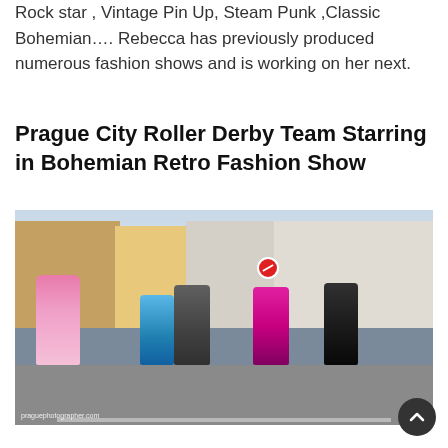Rock star , Vintage Pin Up, Steam Punk ,Classic Bohemian…. Rebecca has previously produced numerous fashion shows and is working on her next.
Prague City Roller Derby Team Starring in Bohemian Retro Fashion Show
[Figure (photo): Women on roller skates wearing colorful retro and bohemian fashion costumes skating down a city street in Prague. One wears a pink dress, another blue, another magenta. Watermark reads 'praguephotographer.com'.]
Their Roller Derby has never accompanying ld her...